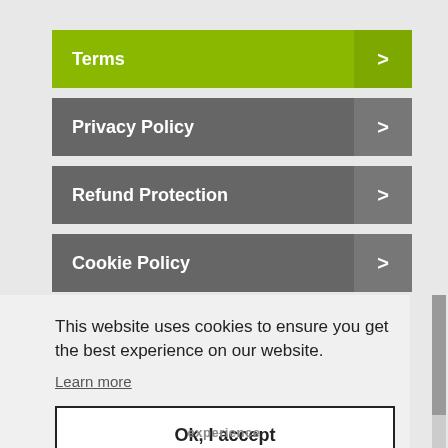Terms >
Privacy Policy >
Refund Protection >
Cookie Policy >
This website uses cookies to ensure you get the best experience on our website.
Learn more
Ok, I accept
experience